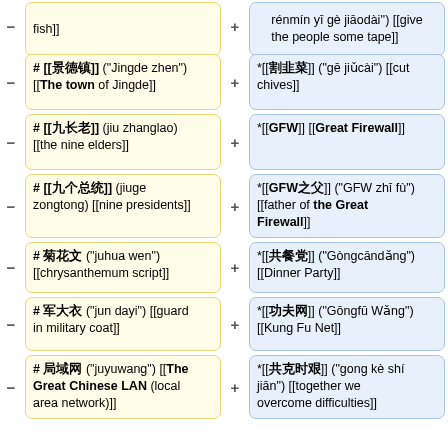fish]]
rénmín yī gè jiāodài'') [[give the people some tape]]
# [[景德镇]] ("Jingde zhen") [[The town of Jingde]]
*[[割韭菜]] ("gē jiǔcài") [[cut chives]]
# [[九长老]] (jiu zhanglao) [[the nine elders]]
*[[GFW]] [[Great Firewall]]
# [[九个总统]] (jiuge zongtong) [[nine presidents]]
*[[GFW之父]] ("GFW zhī fù") [[father of the Great Firewall]]
# 菊花文 ("juhua wen") [[chrysanthemum script]]
*[[共餐党]] ("Gòngcāndǎng") [[Dinner Party]]
# 军大衣 ("jun dayi") [[guard in military coat]]
*[[功夫网]] ("Gōngfū Wǎng") [[Kung Fu Net]]
# 局域网 ("juyuwang") [[The Great Chinese LAN (local area network)]]
*[[共克时艰]] ("gong kè shí jiān") [[together we overcome difficulties]]